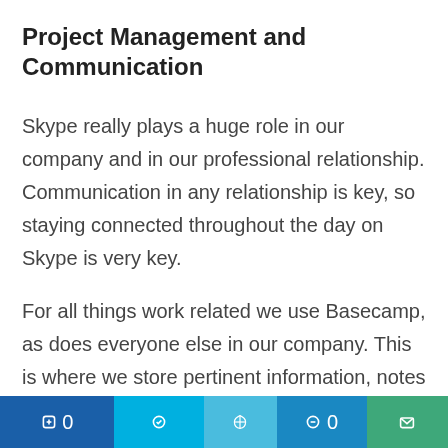Project Management and Communication
Skype really plays a huge role in our company and in our professional relationship. Communication in any relationship is key, so staying connected throughout the day on Skype is very key.
For all things work related we use Basecamp, as does everyone else in our company. This is where we store pertinent information, notes for reports, some credentials, rich media, and other random stuff.
social media footer bar with icons